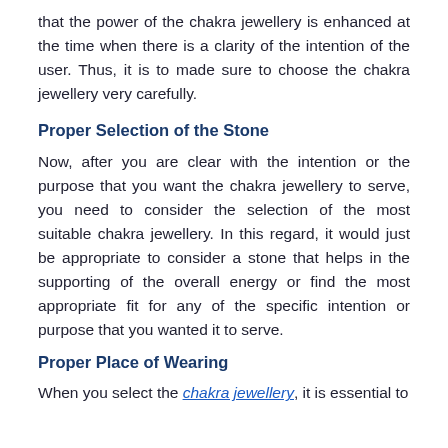that the power of the chakra jewellery is enhanced at the time when there is a clarity of the intention of the user. Thus, it is to made sure to choose the chakra jewellery very carefully.
Proper Selection of the Stone
Now, after you are clear with the intention or the purpose that you want the chakra jewellery to serve, you need to consider the selection of the most suitable chakra jewellery. In this regard, it would just be appropriate to consider a stone that helps in the supporting of the overall energy or find the most appropriate fit for any of the specific intention or purpose that you wanted it to serve.
Proper Place of Wearing
When you select the chakra jewellery, it is essential to